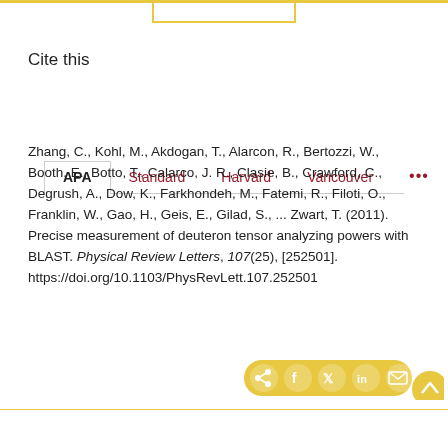Cite this
APA  Standard  Harvard  Vancouver  ...
Zhang, C., Kohl, M., Akdogan, T., Alarcon, R., Bertozzi, W., Booth, E., Botto, T., Calarco, J. R., Clasie, B., Crawford, C., Degrush, A., Dow, K., Farkhondeh, M., Fatemi, R., Filoti, O., Franklin, W., Gao, H., Geis, E., Gilad, S., ... Zwart, T. (2011). Precise measurement of deuteron tensor analyzing powers with BLAST. Physical Review Letters, 107(25), [252501]. https://doi.org/10.1103/PhysRevLett.107.252501